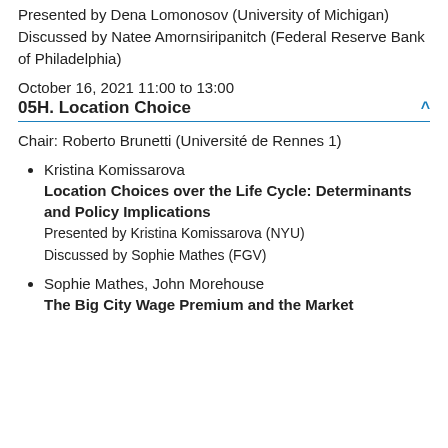Presented by Dena Lomonosov (University of Michigan)
Discussed by Natee Amornsiripanitch (Federal Reserve Bank of Philadelphia)
October 16, 2021 11:00 to 13:00
05H. Location Choice
Chair: Roberto Brunetti (Université de Rennes 1)
Kristina Komissarova
Location Choices over the Life Cycle: Determinants and Policy Implications
Presented by Kristina Komissarova (NYU)
Discussed by Sophie Mathes (FGV)
Sophie Mathes, John Morehouse
The Big City Wage Premium and the Market...